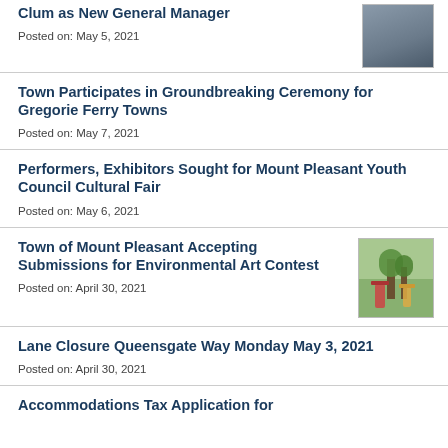Clum as New General Manager
Posted on: May 5, 2021
Town Participates in Groundbreaking Ceremony for Gregorie Ferry Towns
Posted on: May 7, 2021
Performers, Exhibitors Sought for Mount Pleasant Youth Council Cultural Fair
Posted on: May 6, 2021
Town of Mount Pleasant Accepting Submissions for Environmental Art Contest
Posted on: April 30, 2021
Lane Closure Queensgate Way Monday May 3, 2021
Posted on: April 30, 2021
Accommodations Tax Application for